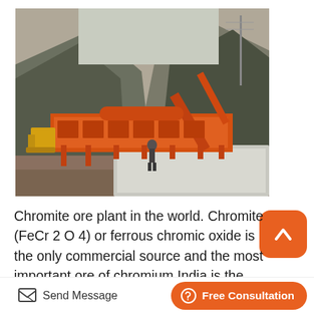[Figure (photo): Outdoor industrial chromite ore processing plant with large orange machinery/conveyor equipment, a worker standing nearby, a yellow excavator in the background, and mountainous terrain with bare trees.]
Chromite ore plant in the world. Chromite (FeCr 2 O 4) or ferrous chromic oxide is the only commercial source and the most important ore of chromium.India is the second largest producer of chromite in the world and has 98 of its total
Send Message   Free Consultation